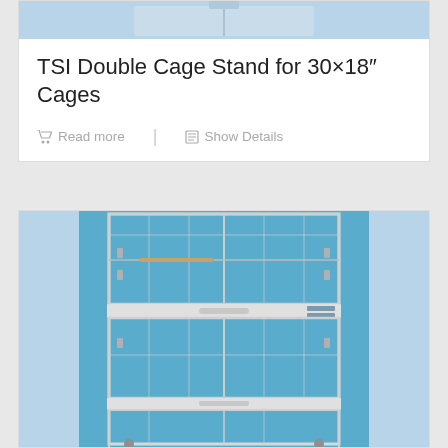[Figure (photo): Top portion of a stacked metal cage stand product photo with blue background]
TSI Double Cage Stand for 30×18″ Cages
Read more | Show Details
[Figure (photo): Metal wire double cage stand stacked vertically against a blue background, showing multiple cage compartments]